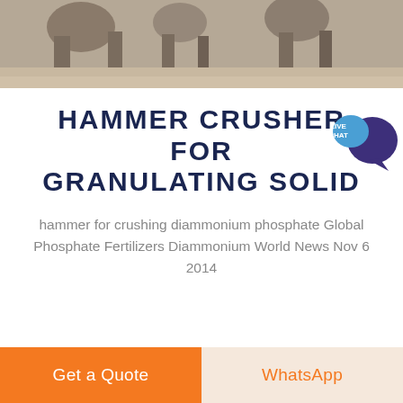[Figure (photo): Photograph of industrial hammer crusher machinery equipment, partially visible at top of page with sandy/dusty environment]
HAMMER CRUSHER FOR GRANULATING SOLID
hammer for crushing diammonium phosphate Global Phosphate Fertilizers Diammonium World News Nov 6 2014